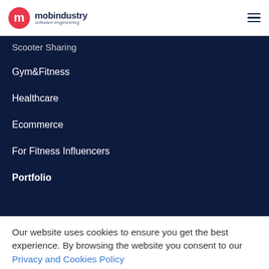mobindustry software engineering
Scooter Sharing
Gym&Fitness
Healthcare
Ecommerce
For Fitness Influencers
Portfolio
Our website uses cookies to ensure you get the best experience. By browsing the website you consent to our Privacy and Cookies Policy
OK